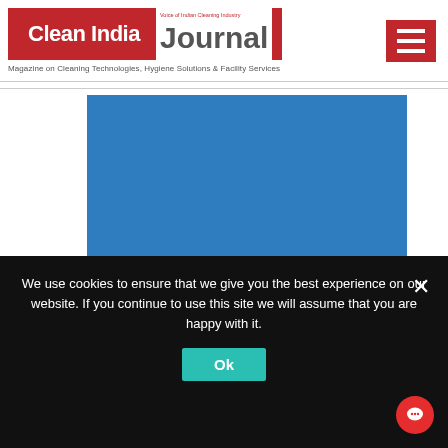[Figure (logo): Clean India Journal logo with red box containing 'Clean India' text, 'Journal' text in gray, red vertical bar, and small text 'Voice of Indian Cleaning Industry']
Magazine on Cleaning Technologies, Hygiene Solutions & Facility Services
[Figure (other): Blue solid color rectangle representing a main image/slideshow area with a navigation arrow button on the right]
We use cookies to ensure that we give you the best experience on our website. If you continue to use this site we will assume that you are happy with it.